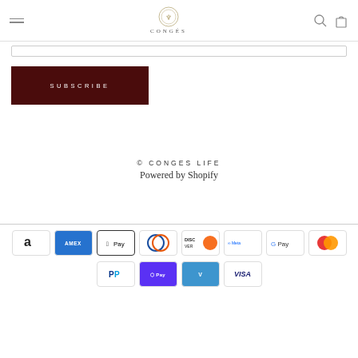CONGÉS
[Figure (logo): Congés logo with circular emblem and text CONGÉS]
SUBSCRIBE
© CONGES LIFE
Powered by Shopify
[Figure (other): Payment method icons: Amazon, Amex, Apple Pay, Diners Club, Discover, Meta Pay, Google Pay, Mastercard, PayPal, Shop Pay, Venmo, Visa]